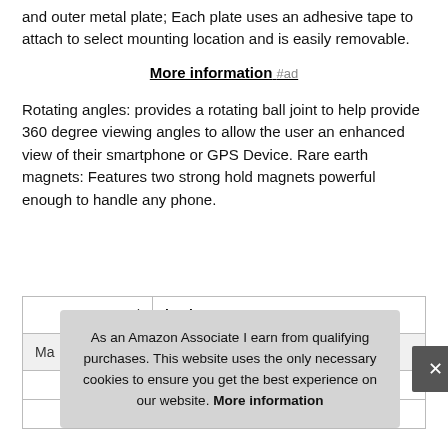and outer metal plate; Each plate uses an adhesive tape to attach to select mounting location and is easily removable.
More information #ad
Rotating angles: provides a rotating ball joint to help provide 360 degree viewing angles to allow the user an enhanced view of their smartphone or GPS Device. Rare earth magnets: Features two strong hold magnets powerful enough to handle any phone.
|  |  |
| --- | --- |
| Brand | iOttie #ad |
| Ma |  |
|  |  |
|  | £19 inches |
As an Amazon Associate I earn from qualifying purchases. This website uses the only necessary cookies to ensure you get the best experience on our website. More information